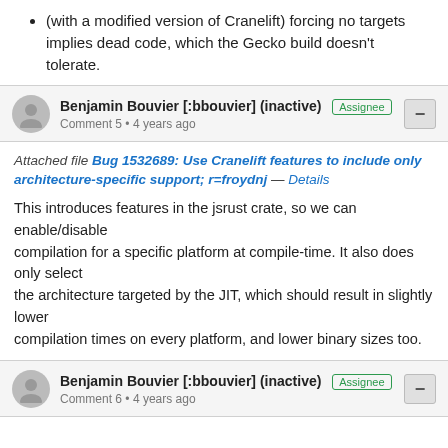(with a modified version of Cranelift) forcing no targets implies dead code, which the Gecko build doesn't tolerate.
Benjamin Bouvier [:bbouvier] (inactive) Assignee Comment 5 • 4 years ago
Attached file Bug 1532689: Use Cranelift features to include only architecture-specific support; r=froydnj — Details
This introduces features in the jsrust crate, so we can enable/disable
compilation for a specific platform at compile-time. It also does only select
the architecture targeted by the JIT, which should result in slightly lower
compilation times on every platform, and lower binary sizes too.
Benjamin Bouvier [:bbouvier] (inactive) Assignee Comment 6 • 4 years ago